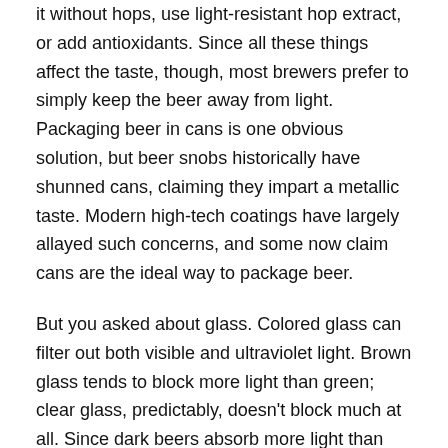it without hops, use light-resistant hop extract, or add antioxidants. Since all these things affect the taste, though, most brewers prefer to simply keep the beer away from light. Packaging beer in cans is one obvious solution, but beer snobs historically have shunned cans, claiming they impart a metallic taste. Modern high-tech coatings have largely allayed such concerns, and some now claim cans are the ideal way to package beer.
But you asked about glass. Colored glass can filter out both visible and ultraviolet light. Brown glass tends to block more light than green; clear glass, predictably, doesn't block much at all. Since dark beers absorb more light than light beers, it's essential to store stouts, bocks, and the like in brown bottles, while lighter beers can be happy in green ones.
Or so goes the theory. To see how things worked out in practice, we turned, as so often, to the lab. My assistants Una and Fierra, both experienced home brewers, cooked up a batch of extra-hoppy German-